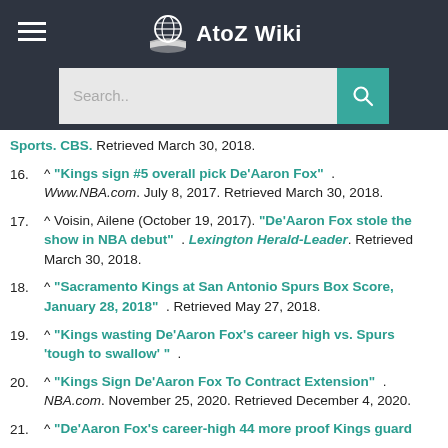AtoZ Wiki
Sports. CBS. Retrieved March 30, 2018.
16. ^ "Kings sign #5 overall pick De'Aaron Fox" . Www.NBA.com. July 8, 2017. Retrieved March 30, 2018.
17. ^ Voisin, Ailene (October 19, 2017). "De'Aaron Fox stole the show in NBA debut" . Lexington Herald-Leader. Retrieved March 30, 2018.
18. ^ "Sacramento Kings at San Antonio Spurs Box Score, January 28, 2018" . Retrieved May 27, 2018.
19. ^ "Kings wasting De'Aaron Fox's career high vs. Spurs 'tough to swallow' " .
20. ^ "Kings Sign De'Aaron Fox To Contract Extension" . NBA.com. November 25, 2020. Retrieved December 4, 2020.
21. ^ "De'Aaron Fox's career-high 44 more proof Kings guard